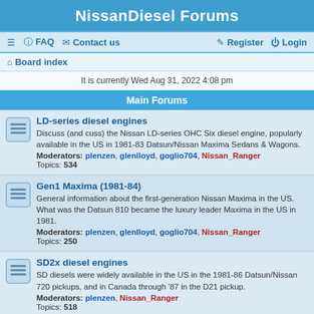NissanDiesel Forums
≡  FAQ  Contact us    Register  Login
Board index
It is currently Wed Aug 31, 2022 4:08 pm
Main Forums
LD-series diesel engines
Discuss (and cuss) the Nissan LD-series OHC Six diesel engine, popularly available in the US in 1981-83 Datsun/Nissan Maxima Sedans & Wagons.
Moderators: plenzen, glenlloyd, goglio704, Nissan_Ranger
Topics: 534
Gen1 Maxima (1981-84)
General information about the first-generation Nissan Maxima in the US. What was the Datsun 810 became the luxury leader Maxima in the US in 1981.
Moderators: plenzen, glenlloyd, goglio704, Nissan_Ranger
Topics: 250
SD2x diesel engines
SD diesels were widely available in the US in the 1981-86 Datsun/Nissan 720 pickups, and in Canada through '87 in the D21 pickup.
Moderators: plenzen, Nissan_Ranger
Topics: 518
SD-powered 720 PU support systems
Dealing with all subsystems specific to the diesel powered Datsun-Nissan 720 pickup trucks.
Moderators: plenzen, Nissan_Ranger